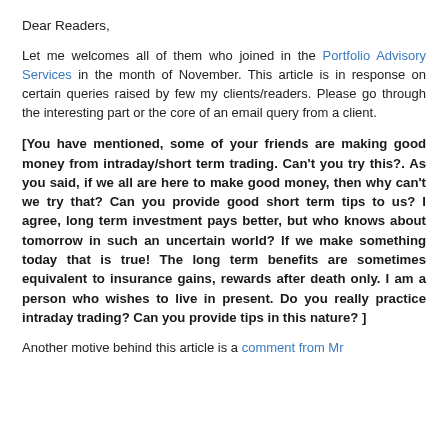Dear Readers,
Let me welcomes all of them who joined in the Portfolio Advisory Services in the month of November. This article is in response on certain queries raised by few my clients/readers. Please go through the interesting part or the core of an email query from a client.
[You have mentioned, some of your friends are making good money from intraday/short term trading. Can’t you try this?. As you said, if we all are here to make good money, then why can’t we try that? Can you provide good short term tips to us? I agree, long term investment pays better, but who knows about tomorrow in such an uncertain world? If we make something today that is true! The long term benefits are sometimes equivalent to insurance gains, rewards after death only. I am a person who wishes to live in present. Do you really practice intraday trading? Can you provide tips in this nature? ]
Another motive behind this article is a comment from Mr